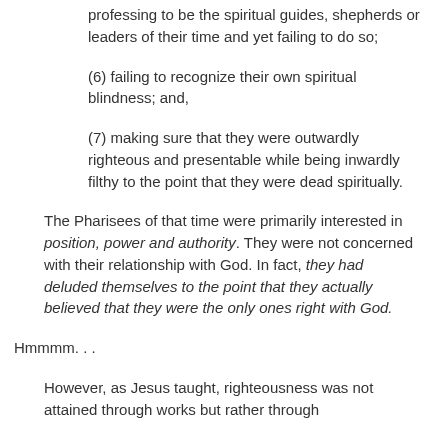(5) professing to be the spiritual guides, shepherds or leaders of their time and yet failing to do so;
(6) failing to recognize their own spiritual blindness; and,
(7) making sure that they were outwardly righteous and presentable while being inwardly filthy to the point that they were dead spiritually.
The Pharisees of that time were primarily interested in position, power and authority. They were not concerned with their relationship with God. In fact, they had deluded themselves to the point that they actually believed that they were the only ones right with God.
Hmmmm. . .
However, as Jesus taught, righteousness was not attained through works but rather through